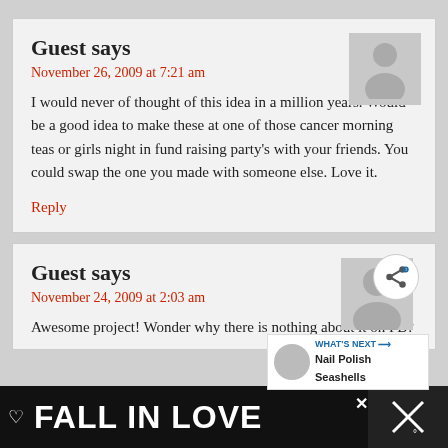Guest says
November 26, 2009 at 7:21 am
I would never of thought of this idea in a million years. Would be a good idea to make these at one of those cancer morning teas or girls night in fund raising party's with your friends. You could swap the one you made with someone else. Love it.
Reply
Guest says
November 24, 2009 at 2:03 am
Awesome project! Wonder why there is nothing about it on FB?
[Figure (screenshot): FALL IN LOVE advertisement banner at the bottom with a dog wearing headphones]